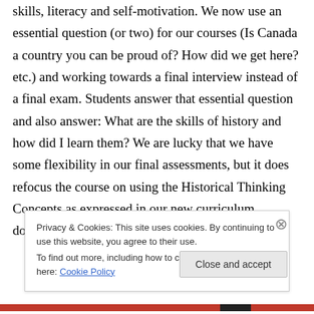skills, literacy and self-motivation. We now use an essential question (or two) for our courses (Is Canada a country you can be proud of? How did we get here? etc.) and working towards a final interview instead of a final exam. Students answer that essential question and also answer: What are the skills of history and how did I learn them? We are lucky that we have some flexibility in our final assessments, but it does refocus the course on using the Historical Thinking Concepts as expressed in our new curriculum document,
Privacy & Cookies: This site uses cookies. By continuing to use this website, you agree to their use.
To find out more, including how to control cookies, see here: Cookie Policy